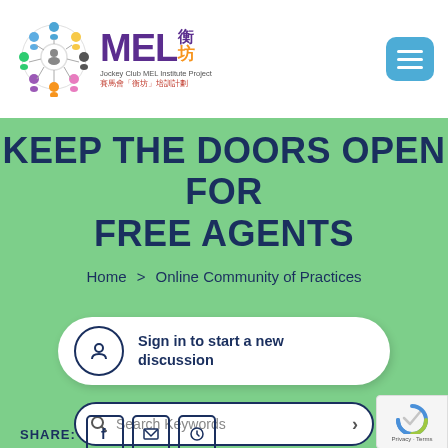[Figure (logo): MEL Institute Project logo with circular network graphic and Chinese characters, Jockey Club MEL Institute Project]
[Figure (other): Blue hamburger menu button with three white horizontal bars]
KEEP THE DOORS OPEN FOR FREE AGENTS
Home > Online Community of Practices
Sign in to start a new discussion
Search Keywords
[Figure (other): reCAPTCHA badge with Privacy and Terms text]
SHARE: